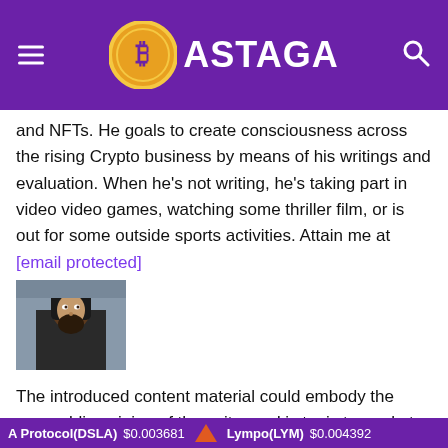BASTAGA
and NFTs. He goals to create consciousness across the rising Crypto business by means of his writings and evaluation. When he's not writing, he's taking part in video video games, watching some thriller film, or is out for some outside sports activities. Attain me at [email protected]
[Figure (photo): Author photo: man with beard and long hair, dark clothing, outdoor background]
The introduced content material could embody the non-public opinion of the writer and is topic to market situation. Do your market analysis earlier than investing in cryptocurrencies. The writer or the publication doesn't maintain any duty to your private monetary loss.
A Protocol(DSLA) $0.003681  Lympo(LYM) $0.004392